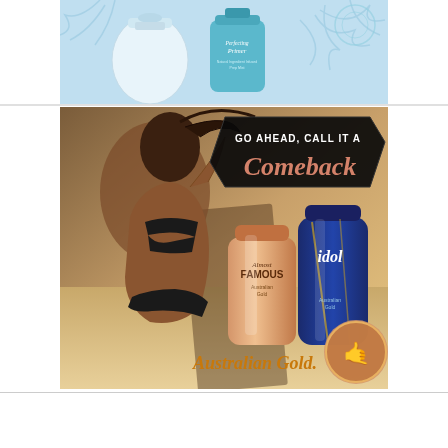[Figure (photo): Product photo of a tanning 'Perfecting Primer' bottle and spray can on a light blue background with palm leaf pattern]
[Figure (photo): Australian Gold brand advertisement showing a tanned woman in black bikini with text 'GO AHEAD, CALL IT A Comeback' and product bottles (Almost Famous and Idol) with Australian Gold logo and branding]